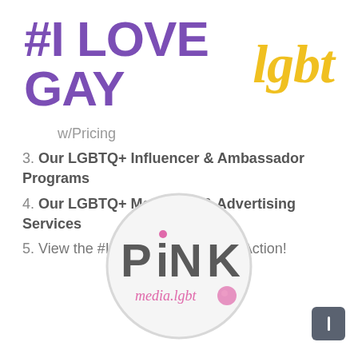#I LOVE GAY lgbt
w/Pricing
3. Our LGBTQ+ Influencer & Ambassador Programs
4. Our LGBTQ+ Marketing & Advertising Services
5. View the #ILoveGay Network In Action!
[Figure (logo): Pink media.lgbt circular logo with grey circle outline, 'PiNK' in large dark grey hand-drawn style text and 'media.lgbt' in pink script below with a pink circle dot]